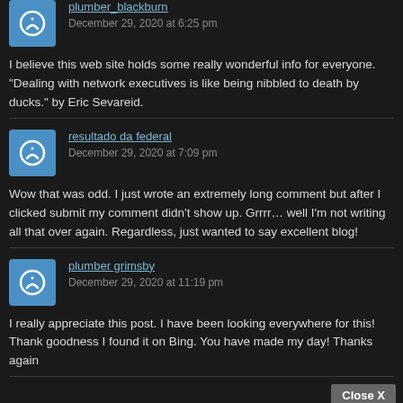plumber_blackburn
December 29, 2020 at 6:25 pm
I believe this web site holds some really wonderful info for everyone. "Dealing with network executives is like being nibbled to death by ducks." by Eric Sevareid.
resultado da federal
December 29, 2020 at 7:09 pm
Wow that was odd. I just wrote an extremely long comment but after I clicked submit my comment didn't show up. Grrrr… well I'm not writing all that over again. Regardless, just wanted to say excellent blog!
plumber grimsby
December 29, 2020 at 11:19 pm
I really appreciate this post. I have been looking everywhere for this! Thank goodness I found it on Bing. You have made my day! Thanks again
[Figure (screenshot): Advertisement banner for Bibi and Tina English YouTube channel with Subscribe button and Close X button]